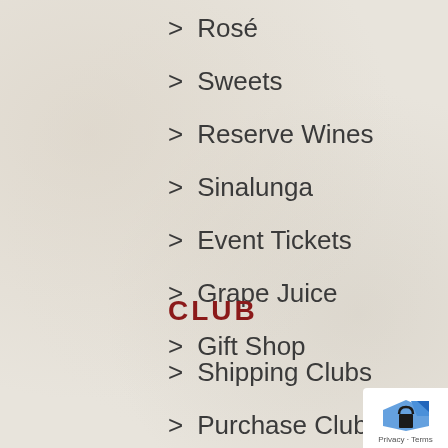Rosé
Sweets
Reserve Wines
Sinalunga
Event Tickets
Grape Juice
Gift Shop
CLUB
Shipping Clubs
Purchase Clubs